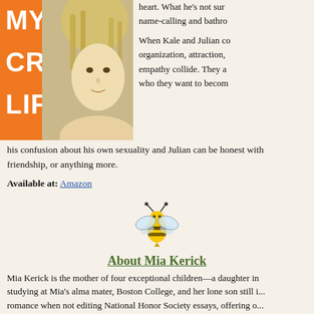[Figure (photo): Book cover for 'My Cru Life' showing orange background with white bold text 'MY CRU LIFE' and a young person with light dreadlocks]
heart. What he's not sur... name-calling and bathro...
When Kale and Julian co... organization, attraction, ... empathy collide. They a... who they want to becom...
his confusion about his own sexuality and Julian can be honest with ... friendship, or anything more.
Available at: Amazon
[Figure (illustration): Cartoon bee illustration]
About Mia Kerick
Mia Kerick is the mother of four exceptional children—a daughter in ... studying at Mia's alma mater, Boston College, and her lone son still i... romance when not editing National Honor Society essays, offering o... applications, helping to create dance bios, and reviewing English pap... been told by many that he has the patience of Job, but don't ask Mia...